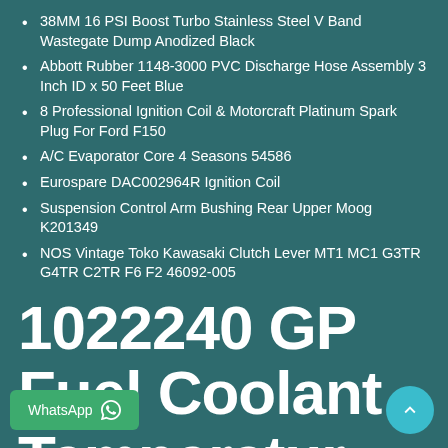38MM 16 PSI Boost Turbo Stainless Steel V Band Wastegate Dump Anodized Black
Abbott Rubber 1148-3000 PVC Discharge Hose Assembly 3 Inch ID x 50 Feet Blue
8 Professional Ignition Coil & Motorcraft Platinum Spark Plug For Ford F150
A/C Evaporator Core 4 Seasons 54586
Eurospare DAC002964R Ignition Coil
Suspension Control Arm Bushing Rear Upper Moog K201349
NOS Vintage Toko Kawasaki Clutch Lever MT1 MC1 G3TR G4TR C2TR F6 F2 46092-005
1022240 GP Fuel Coolant Temperature Sensor For CAT